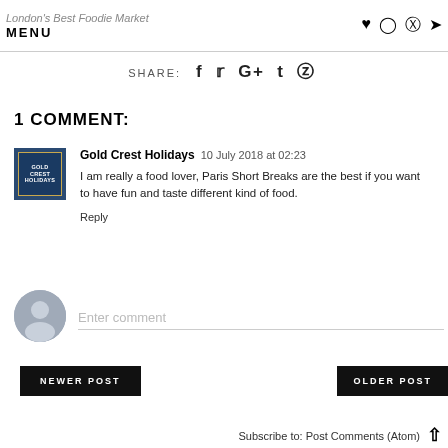London's Best Foodie Market | MENU
SHARE: f t G+ t p
1 COMMENT:
Gold Crest Holidays 10 July 2018 at 02:23
I am really a food lover, Paris Short Breaks are the best if you want to have fun and taste different kind of food.
Reply
Enter comment
NEWER POST
OLDER POST
Subscribe to: Post Comments (Atom)